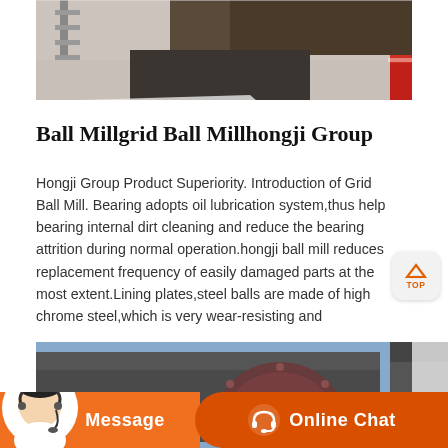[Figure (photo): Industrial construction site photo showing concrete walls and machinery]
Ball Millgrid Ball Millhongji Group
Hongji Group Product Superiority. Introduction of Grid Ball Mill. Bearing adopts oil lubrication system,thus help bearing internal dirt cleaning and reduce the bearing attrition during normal operation.hongji ball mill reduces replacement frequency of easily damaged parts at the most extent.Lining plates,steel balls are made of high chrome steel,which is very wear-resisting and
[Figure (photo): Outdoor industrial facility with a large ball mill machine and building structure under blue sky]
[Figure (other): Chat interface bar with Message and Online Chat buttons, and customer service agent avatar]